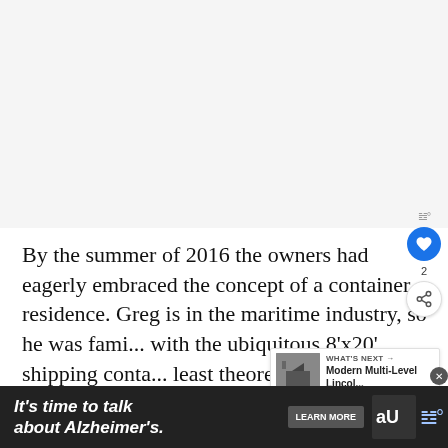[Figure (photo): Large photograph area at top of article page, light gray background placeholder]
By the summer of 2016 the owners had eagerly embraced the concept of a container residence. Greg is in the maritime industry, so he was familiar with the ubiquitous 8'x20' shipping container, at least theoretically. Then they expanded the idea, and the little house on its timbered 2.5-acre lot ne...
[Figure (other): What's Next thumbnail image showing Modern Multi-Level Lincoln... article]
[Figure (other): Advertisement banner: It's time to talk about Alzheimer's. LEARN MORE. Alzheimer's Association logo.]